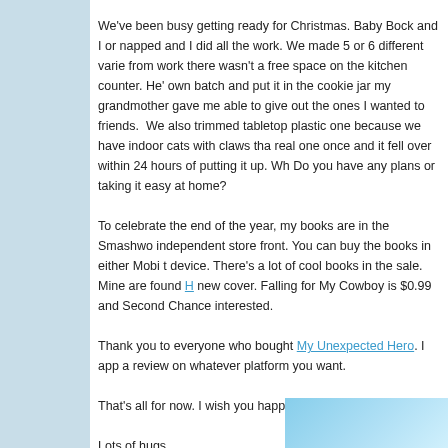We've been busy getting ready for Christmas. Baby Bock and I or napped and I did all the work. We made 5 or 6 different varie from work there wasn't a free space on the kitchen counter. He' own batch and put it in the cookie jar my grandmother gave me able to give out the ones I wanted to friends.  We also trimmed tabletop plastic one because we have indoor cats with claws tha real one once and it fell over within 24 hours of putting it up. Wh Do you have any plans or taking it easy at home?
To celebrate the end of the year, my books are in the Smashwo independent store front. You can buy the books in either Mobi t device. There's a lot of cool books in the sale. Mine are found H new cover. Falling for My Cowboy is $0.99 and Second Chance interested.
Thank you to everyone who bought My Unexpected Hero. I app a review on whatever platform you want.
That's all for now. I wish you happy and safe holiday season!
Lots of hugs,
Allie
[Figure (photo): Partial image visible at bottom right, appearing to show a sky or winter scene with light blue tones]